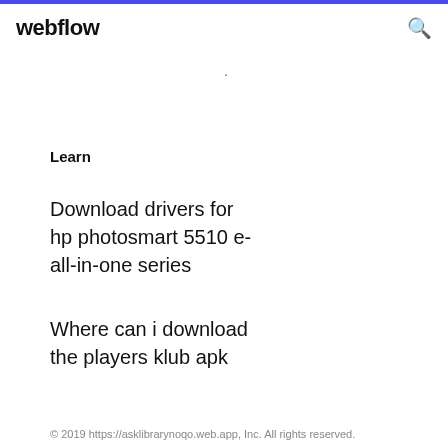webflow
·
Learn
Download drivers for hp photosmart 5510 e-all-in-one series
Where can i download the players klub apk
© 2019 https://asklibrarynoqo.web.app, Inc. All rights reserved.